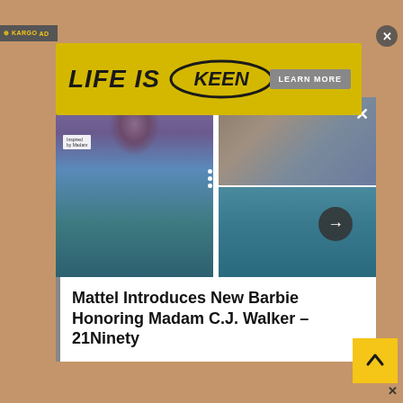[Figure (screenshot): Screenshot of a webpage with a Kargo ad overlay. Top section shows a woman in a tan/beige background. A yellow KEEN shoes advertisement banner reads 'LIFE IS KEEN' with a 'LEARN MORE' button. Below is a content card showing a Barbie doll honoring Madam C.J. Walker, with multiple photos in a grid layout. Article title reads 'Mattel Introduces New Barbie Honoring Madam C.J. Walker - 21Ninety'. A yellow scroll-up button is in the bottom right corner.]